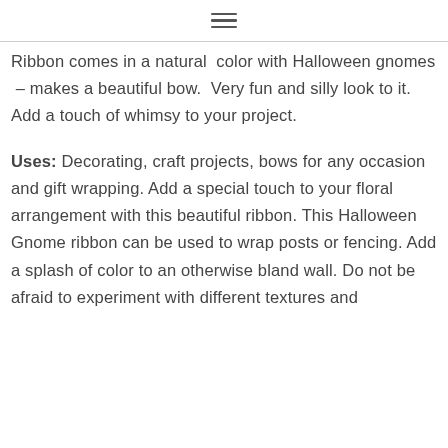Ribbon comes in a natural color with Halloween gnomes – makes a beautiful bow. Very fun and silly look to it. Add a touch of whimsy to your project.
Uses: Decorating, craft projects, bows for any occasion and gift wrapping. Add a special touch to your floral arrangement with this beautiful ribbon. This Halloween Gnome ribbon can be used to wrap posts or fencing. Add a splash of color to an otherwise bland wall. Do not be afraid to experiment with different textures and